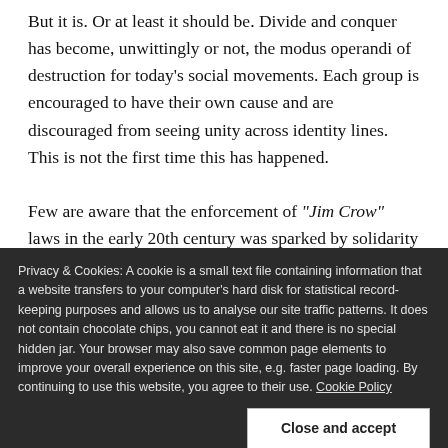But it is. Or at least it should be. Divide and conquer has become, unwittingly or not, the modus operandi of destruction for today's social movements. Each group is encouraged to have their own cause and are discouraged from seeing unity across identity lines. This is not the first time this has happened.
Few are aware that the enforcement of "Jim Crow" laws in the early 20th century was sparked by solidarity
Privacy & Cookies: A cookie is a small text file containing information that a website transfers to your computer's hard disk for statistical record-keeping purposes and allows us to analyse our site traffic patterns. It does not contain chocolate chips, you cannot eat it and there is no special hidden jar. Your browser may also save common page elements to improve your overall experience on this site, e.g. faster page loading. By continuing to use this website, you agree to their use. Cookie Policy
factions.